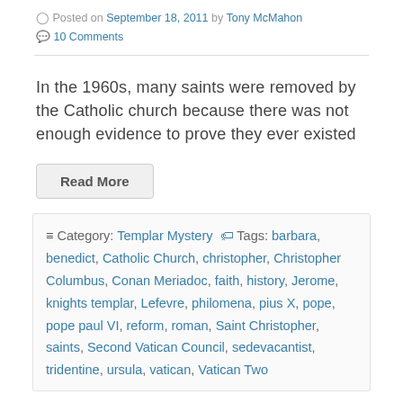Posted on September 18, 2011 by Tony McMahon
10 Comments
In the 1960s, many saints were removed by the Catholic church because there was not enough evidence to prove they ever existed
Read More
Category: Templar Mystery  Tags: barbara, benedict, Catholic Church, christopher, Christopher Columbus, Conan Meriadoc, faith, history, Jerome, knights templar, Lefevre, philomena, pius X, pope, pope paul VI, reform, roman, Saint Christopher, saints, Second Vatican Council, sedevacantist, tridentine, ursula, vatican, Vatican Two